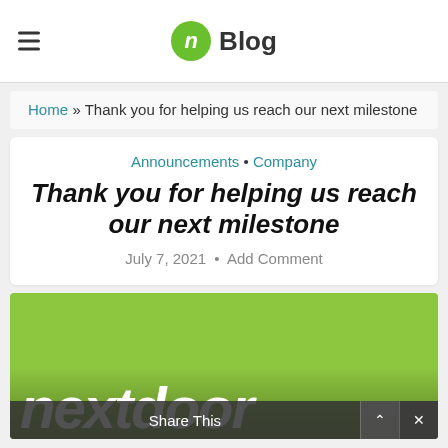n Blog
Home » Thank you for helping us reach our next milestone
Announcements • Company
Thank you for helping us reach our next milestone
July 7, 2021 • Add Comment
[Figure (photo): Nextdoor hero image with bright green background and 'nextdoor' wordmark in white italic bold text at the bottom, partially visible]
Share This